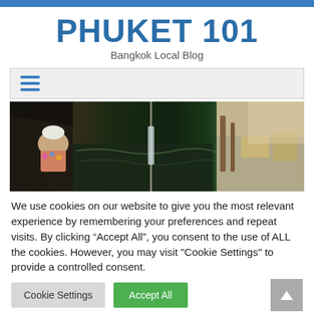PHUKET 101
PHUKET 101
Bangkok Local Blog
[Figure (screenshot): Hamburger menu navigation bar with three blue horizontal lines on a light gray background]
[Figure (photo): Wide photo of a floating market in Bangkok/Thailand, showing a vendor woman in white hat and floral top on the left, with water, bamboo/wood structures, and market goods visible]
We use cookies on our website to give you the most relevant experience by remembering your preferences and repeat visits. By clicking “Accept All”, you consent to the use of ALL the cookies. However, you may visit "Cookie Settings" to provide a controlled consent.